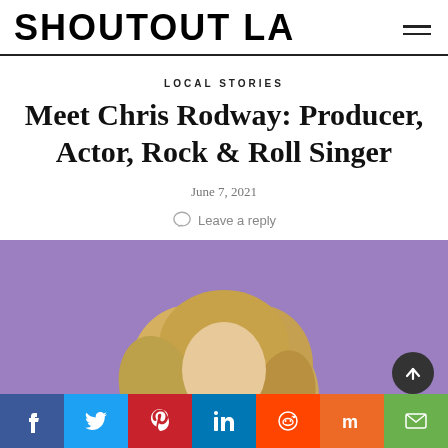SHOUTOUT LA
LOCAL STORIES
Meet Chris Rodway: Producer, Actor, Rock & Roll Singer
June 7, 2021
Leave a reply
[Figure (photo): Person with blonde hair against purple background]
Share buttons: Facebook, Twitter, Pinterest, LinkedIn, Reddit, Mix, Email